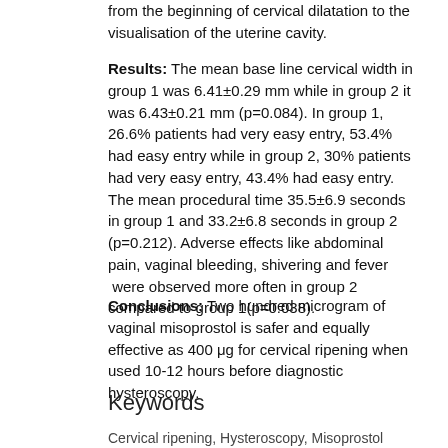from the beginning of cervical dilatation to the visualisation of the uterine cavity.
Results: The mean base line cervical width in group 1 was 6.41±0.29 mm while in group 2 it was 6.43±0.21 mm (p=0.084). In group 1, 26.6% patients had very easy entry, 53.4% had easy entry while in group 2, 30% patients had very easy entry, 43.4% had easy entry. The mean procedural time 35.5±6.9 seconds in group 1 and 33.2±6.8 seconds in group 2 (p=0.212). Adverse effects like abdominal pain, vaginal bleeding, shivering and fever were observed more often in group 2 compared to group 1(p=0.038).
Conclusions: Two hundred microgram of vaginal misoprostol is safer and equally effective as 400 μg for cervical ripening when used 10-12 hours before diagnostic hysteroscopy.
Keywords
Cervical ripening, Hysteroscopy, Misoprostol